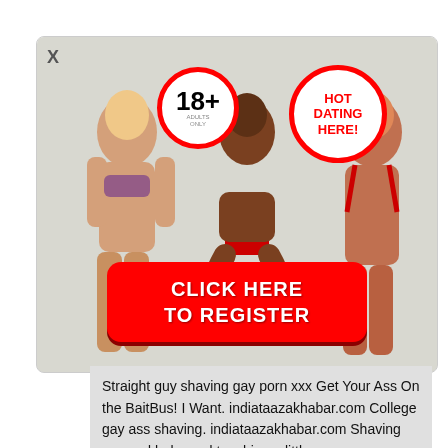[Figure (advertisement): Adult dating advertisement banner showing 18+ badge, 'HOT DATING HERE!' badge, and 'CLICK HERE TO REGISTER' red button with a close X in top-left corner]
Straight guy shaving gay porn xxx Get Your Ass On the BaitBus! I Want. indiataazakhabar.com College gay ass shaving. indiataazakhabar.com Shaving ass and hole. and touching a little. indiataazakhabar.com Thugs on emo gay and men ass shaving movies They smooch